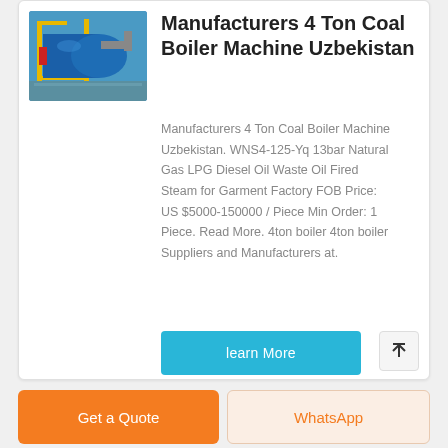[Figure (photo): Industrial coal boiler machine in a factory setting, showing blue cylindrical boiler with yellow frame structures]
Manufacturers 4 Ton Coal Boiler Machine Uzbekistan
Manufacturers 4 Ton Coal Boiler Machine Uzbekistan. WNS4-125-Yq 13bar Natural Gas LPG Diesel Oil Waste Oil Fired Steam for Garment Factory FOB Price: US $5000-150000 / Piece Min Order: 1 Piece. Read More. 4ton boiler 4ton boiler Suppliers and Manufacturers at.
learn More
Get a Quote
WhatsApp